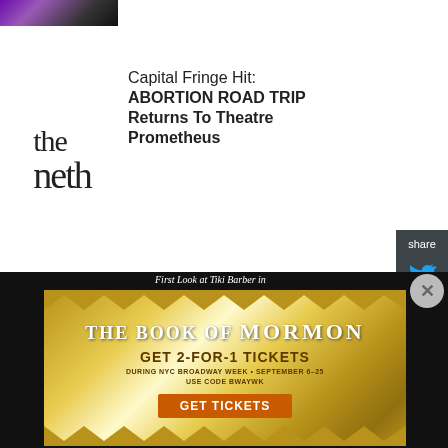[Figure (photo): Partial top image strip, purple/dark tones]
[Figure (logo): The Neth logo in stylized serif font]
Capital Fringe Hit: ABORTION ROAD TRIP Returns To Theatre Prometheus
[Figure (photo): Show Must Go On - A Musical Revue, McLean Community Players, September 23-24, 2022, red curtain background]
THE SHOW MUST GO ON! Rescheduled at The McLean Community Players
[Figure (photo): Ford's Theatre thumbnail - gold/sepia tones]
Ford's Theatre
[Figure (screenshot): Advertisement: The Book of Mormon - GET 2-FOR-1 TICKETS DURING NYC BROADWAY WEEK SEPTEMBER 6-25, USE CODE BWAYWK, GET TICKETS]
First Look at Tiki Barber in